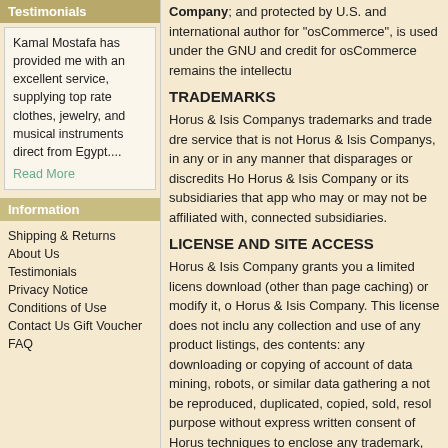Testimonials
Kamal Mostafa has provided me with an excellent service, supplying top rate clothes, jewelry, and musical instruments direct from Egypt.... Read More
Information
Shipping & Returns
About Us
Testimonials
Privacy Notice
Conditions of Use
Contact Us Gift Voucher
FAQ
Company; and protected by U.S. and international author for "osCommerce", is used under the GNU and credit for osCommerce remains the intellectu
TRADEMARKS
Horus & Isis Companys trademarks and trade dre service that is not Horus & Isis Companys, in any or in any manner that disparages or discredits Ho Horus & Isis Company or its subsidiaries that app who may or may not be affiliated with, connected subsidiaries.
LICENSE AND SITE ACCESS
Horus & Isis Company grants you a limited licens download (other than page caching) or modify it, o Horus & Isis Company. This license does not inclu any collection and use of any product listings, des contents: any downloading or copying of account of data mining, robots, or similar data gathering a not be reproduced, duplicated, copied, sold, resol purpose without express written consent of Horus techniques to enclose any trademark, logo, or oth layout, or form) of Horus & Isis Company and our